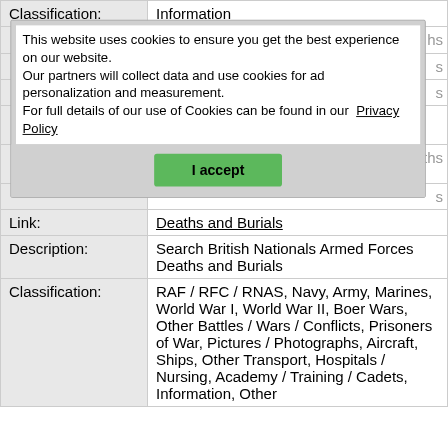| Classification: | Information |
| --- | --- |
| Link: | Deaths and Burials |
| Description: | Search British Nationals Armed Forces Deaths and Burials |
| Classification: | RAF / RFC / RNAS, Navy, Army, Marines, World War I, World War II, Boer Wars, Other Battles / Wars / Conflicts, Prisoners of War, Pictures / Photographs, Aircraft, Ships, Other Transport, Hospitals / Nursing, Academy / Training / Cadets, Information, Other |
This website uses cookies to ensure you get the best experience on our website.
Our partners will collect data and use cookies for ad personalization and measurement.
For full details of our use of Cookies can be found in our Privacy Policy